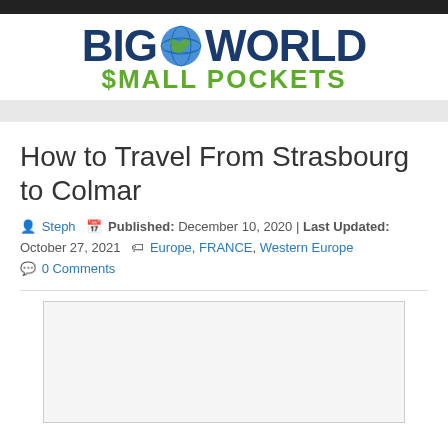[Figure (logo): Big World Small Pockets logo with globe icon]
How to Travel From Strasbourg to Colmar
Steph  Published: December 10, 2020 | Last Updated: October 27, 2021   Europe, FRANCE, Western Europe  0 Comments
[Figure (photo): Article image placeholder (light gray box)]